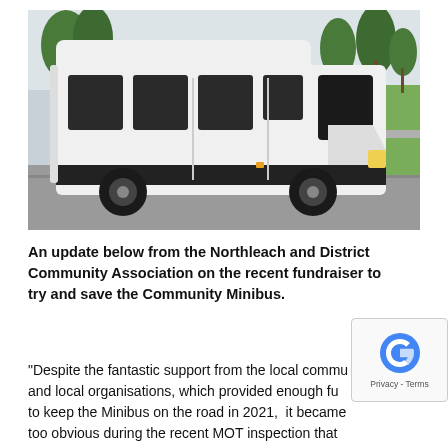[Figure (photo): A white Ford Transit minibus parked in a car park, with trees and a grassy area visible in the background. The vehicle is large with high roof and tinted windows along the side.]
An update below from the Northleach and District Community Association on the recent fundraiser to try and save the Community Minibus.
"Despite the fantastic support from the local community and local organisations, which provided enough funds to keep the Minibus on the road in 2021,  it became too obvious during the recent MOT inspection that